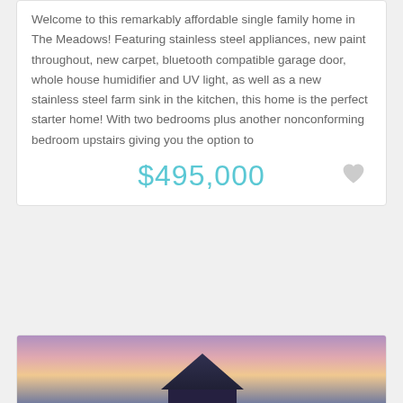Welcome to this remarkably affordable single family home in The Meadows! Featuring stainless steel appliances, new paint throughout, new carpet, bluetooth compatible garage door, whole house humidifier and UV light, as well as a new stainless steel farm sink in the kitchen, this home is the perfect starter home! With two bedrooms plus another nonconforming bedroom upstairs giving you the option to
$495,000
[Figure (photo): Exterior photo of a house at dusk/sunset with a triangular roofline silhouetted against a purple-pink sky]